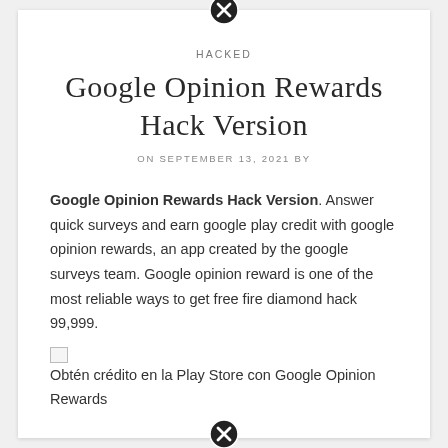[Figure (other): Close/X button circle icon at top center]
HACKED
Google Opinion Rewards Hack Version
ON SEPTEMBER 13, 2021 BY
Google Opinion Rewards Hack Version. Answer quick surveys and earn google play credit with google opinion rewards, an app created by the google surveys team. Google opinion reward is one of the most reliable ways to get free fire diamond hack 99,999.
[broken image] Obtén crédito en la Play Store con Google Opinion Rewards
[Figure (other): Close/X button circle icon at bottom center]